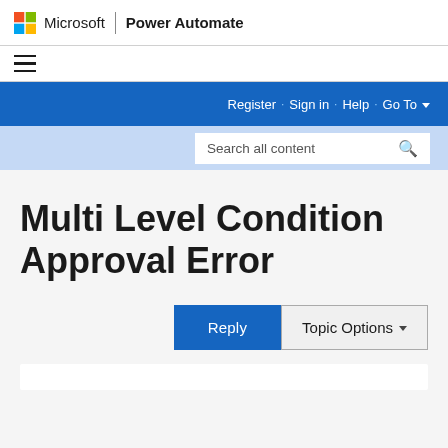Microsoft | Power Automate
[Figure (logo): Microsoft colorful 4-square Windows logo followed by 'Microsoft' text and 'Power Automate' brand name]
Register · Sign in · Help · Go To
Search all content
Multi Level Condition Approval Error
Reply   Topic Options